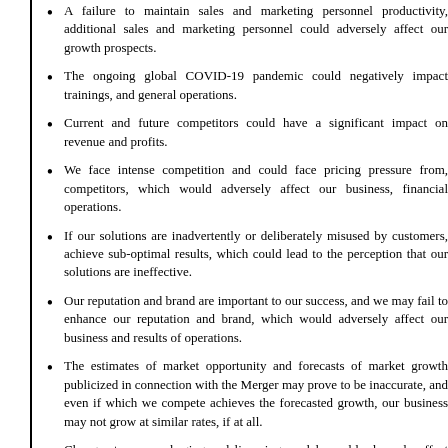A failure to maintain sales and marketing personnel productivity, additional sales and marketing personnel could adversely affect our growth prospects.
The ongoing global COVID-19 pandemic could negatively impact trainings, and general operations.
Current and future competitors could have a significant impact on revenue and profits.
We face intense competition and could face pricing pressure from, competitors, which would adversely affect our business, financial operations.
If our solutions are inadvertently or deliberately misused by customers, achieve sub-optimal results, which could lead to the perception that our solutions are ineffective.
Our reputation and brand are important to our success, and we may fail to enhance our reputation and brand, which would adversely affect our business and results of operations.
The estimates of market opportunity and forecasts of market growth publicized in connection with the Merger may prove to be inaccurate, and even if which we compete achieves the forecasted growth, our business may not grow at similar rates, if at all.
Changes to our packaging and licensing models could adversely affect our ability to retain customers.
If we fail to manage future growth effectively, our business could be harmed.